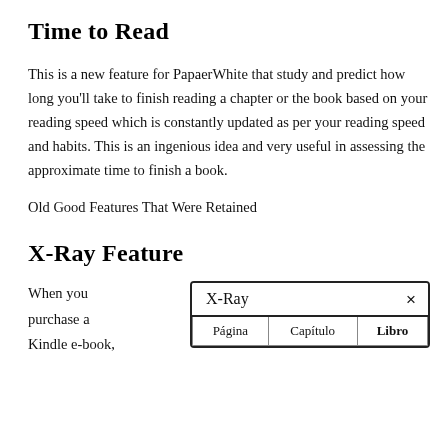Time to Read
This is a new feature for PapaerWhite that study and predict how long you'll take to finish reading a chapter or the book based on your reading speed which is constantly updated as per your reading speed and habits. This is an ingenious idea and very useful in assessing the approximate time to finish a book.
Old Good Features That Were Retained
X-Ray Feature
When you purchase a Kindle e-book,
| X-Ray | × |
| --- | --- |
| Página | Capítulo | Libro |